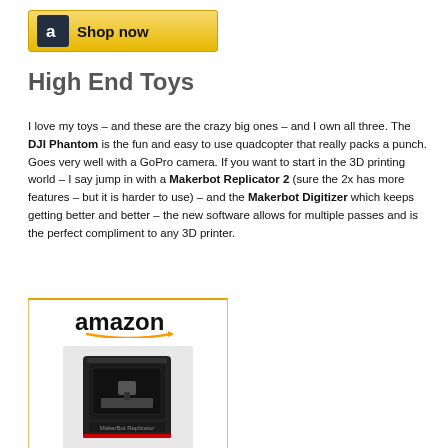[Figure (logo): Amazon 'Shop now' banner button with Amazon 'a' logo icon on dark background and golden gradient background]
High End Toys
I love my toys – and these are the crazy big ones – and I own all three. The DJI Phantom is the fun and easy to use quadcopter that really packs a punch. Goes very well with a GoPro camera. If you want to start in the 3D printing world – I say jump in with a Makerbot Replicator 2 (sure the 2x has more features – but it is harder to use) – and the Makerbot Digitizer which keeps getting better and better – the new software allows for multiple passes and is the perfect compliment to any 3D printer.
[Figure (screenshot): Amazon product widget showing a MakerBot 3D printer with Amazon logo and product link 'MakerBot MP05925EU...']